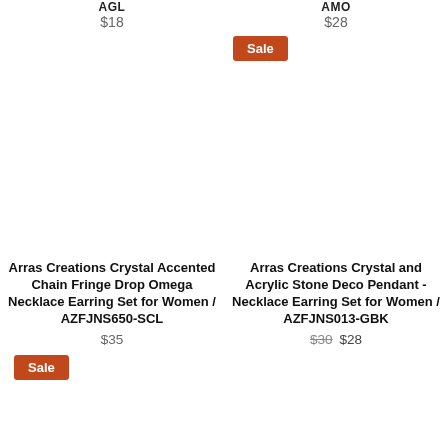AGL
$18
AMO
$28
Sale
[Figure (photo): Product image area for Arras Creations Crystal Accented Chain Fringe Drop Omega Necklace Earring Set (left column)]
[Figure (photo): Product image area for Arras Creations Crystal and Acrylic Stone Deco Pendant Necklace Earring Set (right column)]
Arras Creations Crystal Accented Chain Fringe Drop Omega Necklace Earring Set for Women / AZFJNS650-SCL
$35
Arras Creations Crystal and Acrylic Stone Deco Pendant - Necklace Earring Set for Women / AZFJNS013-GBK
$30 $28
Sale